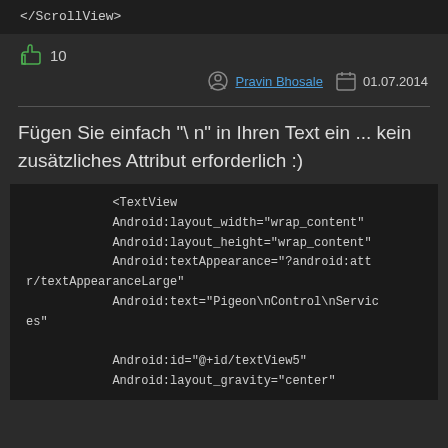[Figure (screenshot): Code block showing </ScrollView> closing tag on dark background]
10
Pravin Bhosale  01.07.2014
Fügen Sie einfach "\ n" in Ihren Text ein ... kein zusätzliches Attribut erforderlich :)
[Figure (screenshot): Code block showing XML TextView element with Android attributes including layout_width, layout_height, textAppearance, text, id, and layout_gravity]